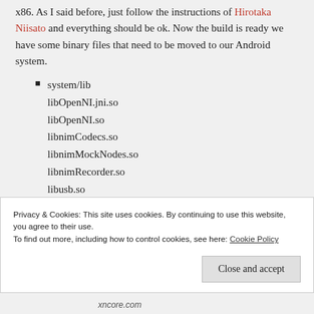x86. As I said before, just follow the instructions of Hirotaka Niisato and everything should be ok. Now the build is ready we have some binary files that need to be moved to our Android system.
system/lib
libOpenNI.jni.so
libOpenNI.so
libnimCodecs.so
libnimMockNodes.so
libnimRecorder.so
libusb.so
libXnCore.so
Privacy & Cookies: This site uses cookies. By continuing to use this website, you agree to their use.
To find out more, including how to control cookies, see here: Cookie Policy
Close and accept